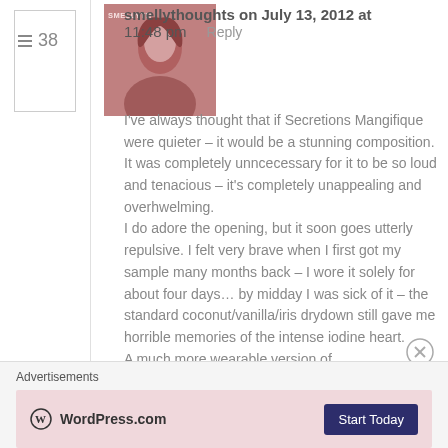38
[Figure (photo): Avatar photo of smellythoughts user - woman with pink/rose tinted portrait image with 'SMELLYTH' label overlay]
smellythoughts on July 13, 2012 at 11:48 pm   Reply
I've always thought that if Secretions Mangifique were quieter – it would be a stunning composition. It was completely unncecessary for it to be so loud and tenacious – it's completely unappealing and overhwelming.
I do adore the opening, but it soon goes utterly repulsive. I felt very brave when I first got my sample many months back – I wore it solely for about four days… by midday I was sick of it – the standard coconut/vanilla/iris drydown still gave me horrible memories of the intense iodine heart.
A much more wearable version of
Advertisements
[Figure (logo): WordPress.com logo with circular W icon and 'WordPress.com' text, with 'Start Today' dark blue button on pink/rose background banner]